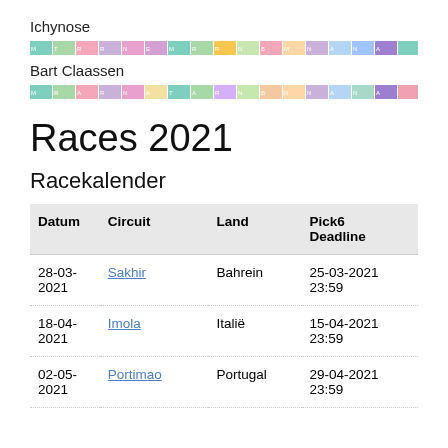Ichynose
[Figure (infographic): Colorful horizontal bar with multiple colored segments representing drivers or teams]
Bart Claassen
[Figure (infographic): Second colorful horizontal bar with multiple colored segments]
Races 2021
Racekalender
| Datum | Circuit | Land | Pick6 Deadline |
| --- | --- | --- | --- |
| 28-03-2021 | Sakhir | Bahrein | 25-03-2021 23:59 |
| 18-04-2021 | Imola | Italië | 15-04-2021 23:59 |
| 02-05-2021 | Portimao | Portugal | 29-04-2021 23:59 |